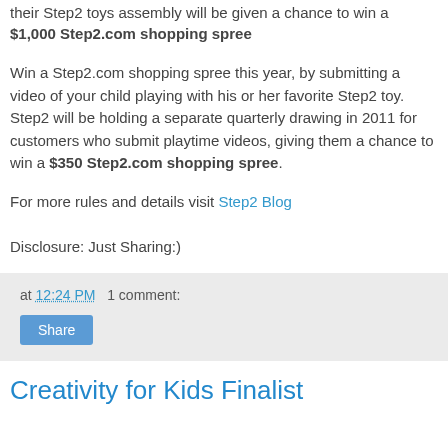their Step2 toys assembly will be given a chance to win a $1,000 Step2.com shopping spree
Win a Step2.com shopping spree this year, by submitting a video of your child playing with his or her favorite Step2 toy. Step2 will be holding a separate quarterly drawing in 2011 for customers who submit playtime videos, giving them a chance to win a $350 Step2.com shopping spree.
For more rules and details visit Step2 Blog
Disclosure: Just Sharing:)
at 12:24 PM   1 comment:
Share
Creativity for Kids Finalist